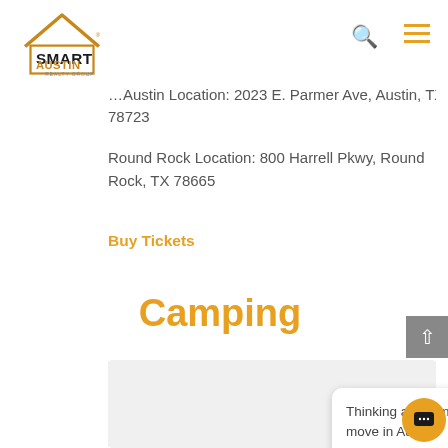[Figure (logo): Smart Austin Realty Group logo — house outline in orange/gold with bold black SMART and orange AUSTIN text, REALTY GROUP below]
Austin Location: 2023 E. Parmer Ave, Austin, TX 78723
Round Rock Location: 800 Harrell Pkwy, Round Rock, TX 78665
Buy Tickets
Camping
Thinking about making a move in Austin?